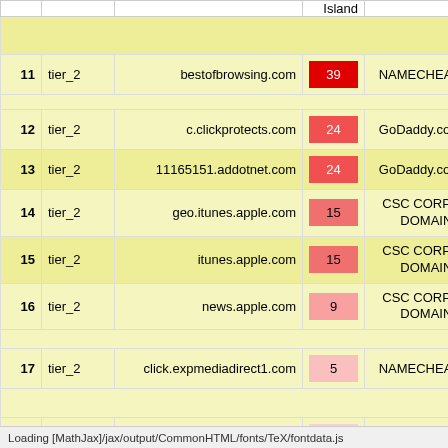|  |  |  | Island |  |
| --- | --- | --- | --- | --- |
| 11 | tier_2 | bestofbrowsing.com | 39 | NAMECHEAP |
| 12 | tier_2 | c.clickprotects.com | 24 | GoDaddy.com |
| 13 | tier_2 | 11165151.addotnet.com | 24 | GoDaddy.com |
| 14 | tier_2 | geo.itunes.apple.com | 15 | CSC CORPO DOMAINS |
| 15 | tier_2 | itunes.apple.com | 15 | CSC CORPO DOMAINS |
| 16 | tier_2 | news.apple.com | 9 | CSC CORPO DOMAINS |
| 17 | tier_2 | click.expmediadirect1.com | 5 | NAMECHEAP |
| 18 | tier_2 | specgoal.com | 4 | NAMECHEAP |
Loading [MathJax]/jax/output/CommonHTML/fonts/TeX/fontdata.js